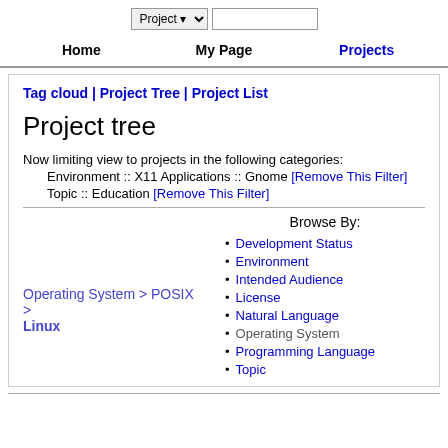Project [dropdown] [search box]
Home | My Page | Projects
Tag cloud | Project Tree | Project List
Project tree
Now limiting view to projects in the following categories:
    Environment :: X11 Applications :: Gnome [Remove This Filter]
    Topic :: Education [Remove This Filter]
Browse By:
Operating System > POSIX > Linux
Development Status
Environment
Intended Audience
License
Natural Language
Operating System
Programming Language
Topic